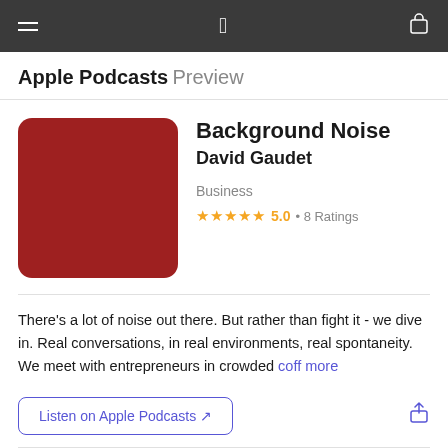Apple Podcasts Preview
Background Noise
David Gaudet
Business
★★★★★ 5.0 • 8 Ratings
There's a lot of noise out there. But rather than fight it - we dive in. Real conversations, in real environments, real spontaneity. We meet with entrepreneurs in crowded coff more
Listen on Apple Podcasts ↗